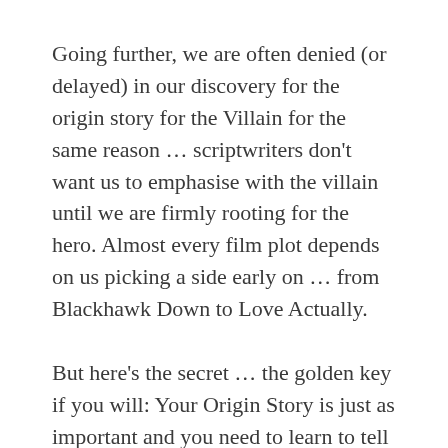Going further, we are often denied (or delayed) in our discovery for the origin story for the Villain for the same reason … scriptwriters don't want us to emphasise with the villain until we are firmly rooting for the hero. Almost every film plot depends on us picking a side early on … from Blackhawk Down to Love Actually.
But here's the secret … the golden key if you will: Your Origin Story is just as important and you need to learn to tell it well to ensure other people are on board with your goals and mission … whether you're in a company, running your own show or self-employed, being able to convey your origin story is a key skill that will